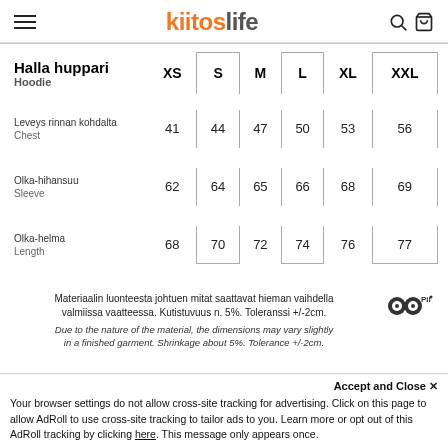kiitoslife — navigation header with hamburger menu, logo, search and cart icons
| Halla huppari / Hoodie | XS | S | M | L | XL | XXL |
| --- | --- | --- | --- | --- | --- | --- |
| Leveys rinnan kohdalta / Chest | 41 | 44 | 47 | 50 | 53 | 56 |
| Olka-hihansuu / Sleeve | 62 | 64 | 65 | 66 | 68 | 69 |
| Olka-helma / Length | 68 | 70 | 72 | 74 | 76 | 77 |
Materiaalin luonteesta johtuen mitat saattavat hieman vaihdella valmiissa vaatteessa. Kutistuvuus n. 5%. Toleranssi +/-2cm.
Due to the nature of the material, the dimensions may vary slightly in a finished garment. Shrinkage about 5%. Tolerance +/-2cm.
Accept and Close ×
Your browser settings do not allow cross-site tracking for advertising. Click on this page to allow AdRoll to use cross-site tracking to tailor ads to you. Learn more or opt out of this AdRoll tracking by clicking here. This message only appears once.